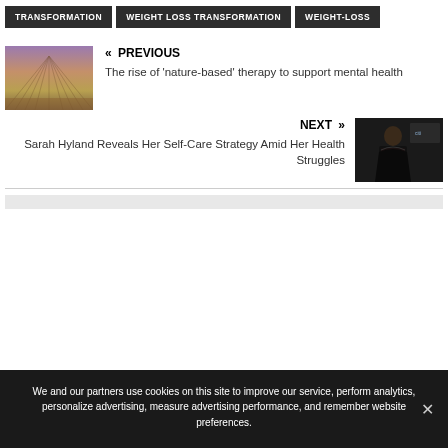TRANSFORMATION
WEIGHT LOSS TRANSFORMATION
WEIGHT-LOSS
« PREVIOUS
The rise of 'nature-based' therapy to support mental health
[Figure (photo): Aerial/perspective view of rows of lavender or crop fields converging to a horizon, purple-brown tones]
NEXT »
Sarah Hyland Reveals Her Self-Care Strategy Amid Her Health Struggles
[Figure (photo): Woman in black strapless dress at an event, citibank/event signage visible in background]
We and our partners use cookies on this site to improve our service, perform analytics, personalize advertising, measure advertising performance, and remember website preferences.